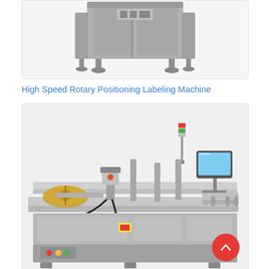[Figure (photo): Photo of an industrial cabinet-style machine (appears to be a labeling or packaging machine) in a rectangular enclosure with adjustable feet, cropped showing only the lower portion of the machine.]
High Speed Rotary Positioning Labeling Machine
[Figure (photo): Photo of a High Speed Rotary Positioning Labeling Machine — a horizontal conveyor-style labeling machine with rotary disc on the left, label applicator in the center, touchscreen control panel on the right mounted on arm, and a signal tower light at top center. Red back-to-top button overlaid in bottom-right corner.]